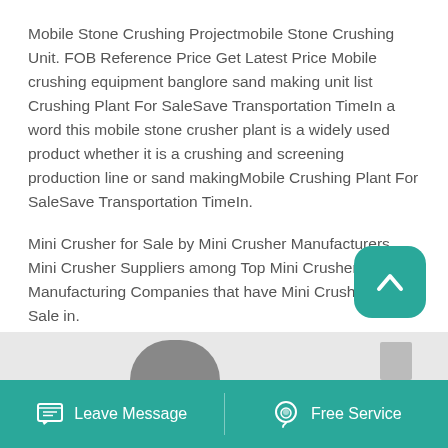Mobile Stone Crushing Projectmobile Stone Crushing Unit. FOB Reference Price Get Latest Price Mobile crushing equipment banglore sand making unit list Crushing Plant For SaleSave Transportation TimeIn a word this mobile stone crusher plant is a widely used product whether it is a crushing and screening production line or sand makingMobile Crushing Plant For SaleSave Transportation TimeIn.
[Figure (other): Teal rounded square scroll-to-top button with upward chevron icon]
Mini Crusher for Sale by Mini Crusher Manufacturers Mini Crusher Suppliers among Top Mini Crusher Manufacturing Companies that have Mini Crusher for Sale in.
Read More →
[Figure (photo): Partial image strip showing dark curved machinery shape and rectangular object at bottom of page]
Leave Message   Free Service